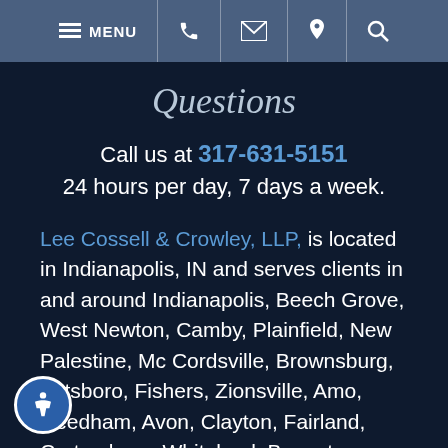MENU [phone] [email] [location] [search]
Questions
Call us at 317-631-5151
24 hours per day, 7 days a week.
Lee Cossell & Crowley, LLP, is located in Indianapolis, IN and serves clients in and around Indianapolis, Beech Grove, West Newton, Camby, Plainfield, New Palestine, Mc Cordsville, Brownsburg, Pittsboro, Fishers, Zionsville, Amo, Needham, Avon, Clayton, Fairland, Cartersburg, Whiteland, Boggstown, Brooklyn, Greenwood, Danville, Bargersville, Whitestown, Greenfield, Carmel, Finly, Boone County, Hamilton County, Hancock County, Hendricks County,